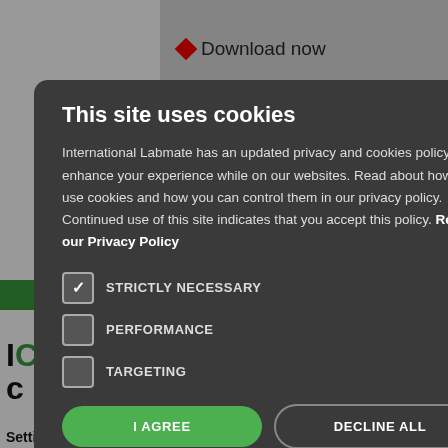[Figure (screenshot): Background webpage with grey photo area, Download now text with red diamond icon, green navigation bar, and two product photos on the right]
This site uses cookies
International Labmate has an updated privacy and cookies policy to enhance your experience while on our websites. Read about how we use cookies and how you can control them in our privacy policy. Continued use of this site indicates that you accept this policy. Read our Privacy Policy
STRICTLY NECESSARY
PERFORMANCE
TARGETING
I AGREE
DECLINE ALL
SHOW DETAILS
Setting the standard for continuous